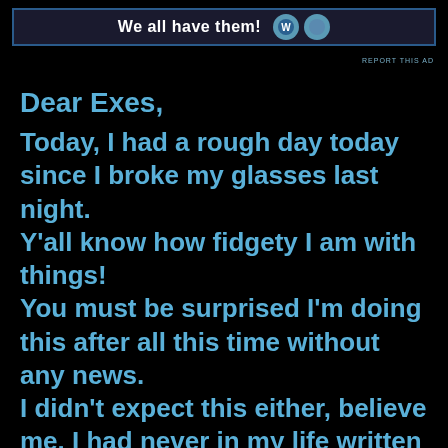[Figure (other): Advertisement banner with text 'We all have them!' and circular logo icons on dark blue background]
REPORT THIS AD
Dear Exes,
Today, I had a rough day today since I broke my glasses last night.
Y'all know how fidgety I am with things!
You must be surprised I'm doing this after all this time without any news.
I didn't expect this either, believe me. I had never in my life written a letter before this one(I won't count a stupid love letter I wrote in school), I guess we're used to first times by now… I don't know where to start, sorry if I'm